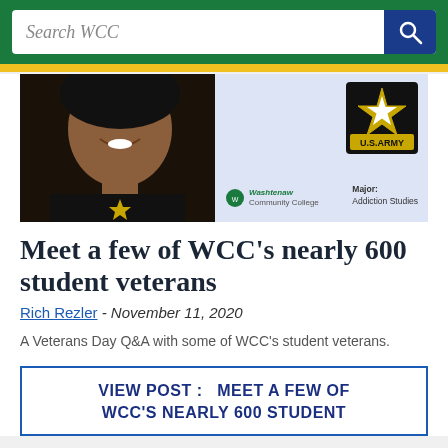Search WCC
[Figure (photo): Composite image showing a smiling woman in a black U.S. Army shirt on the left, and a U.S. Army logo with Washtenaw Community College branding and 'Major: Addiction Studies' text on a light blue background on the right.]
Meet a few of WCC's nearly 600 student veterans
Rich Rezler - November 11, 2020
A Veterans Day Q&A with some of WCC's student veterans.
VIEW POST :   MEET A FEW OF WCC'S NEARLY 600 STUDENT